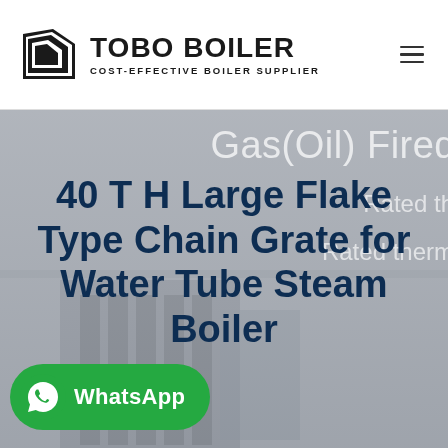TOBO BOILER — COST-EFFECTIVE BOILER SUPPLIER
[Figure (screenshot): Hero banner image showing industrial boiler machinery with overlaid text reading 'Gas(Oil) Fired', 'Rated th...', 'Rated therm...' in light gray on a gray/muted background]
40 T H Large Flake Type Chain Grate for Water Tube Steam Boiler
[Figure (logo): WhatsApp contact button — green rounded rectangle with WhatsApp icon and text 'WhatsApp']